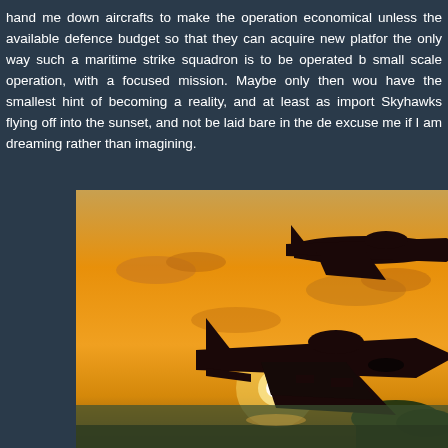hand me down aircrafts to make the operation economical unless the available defence budget so that they can acquire new platforms, the only way such a maritime strike squadron is to be operated by small scale operation, with a focused mission. Maybe only then would have the smallest hint of becoming a reality, and at least as importantly, Skyhawks flying off into the sunset, and not be laid bare in the desert. excuse me if I am dreaming rather than imagining.
[Figure (photo): Two military jet aircraft (Skyhawks) silhouetted against a dramatic orange and golden sunset sky over water, flying in formation]